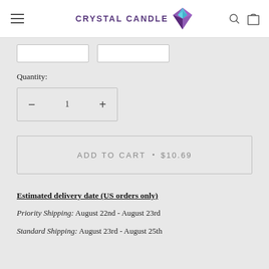CRYSTAL CANDLE
Quantity:
— 1 +
ADD TO CART • $10.69
Estimated delivery date (US orders only)
Priority Shipping: August 22nd - August 23rd
Standard Shipping: August 23rd - August 25th